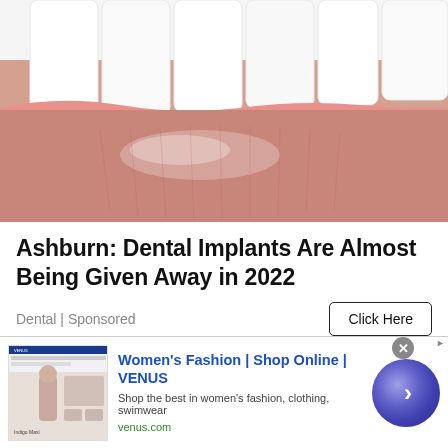[Figure (photo): Close-up macro photo of white dental implants/teeth with pink lips in the foreground]
Ashburn: Dental Implants Are Almost Being Given Away in 2022
Dental | Sponsored
[Figure (photo): Photo of a cyclist wearing a white helmet, blurred colorful background]
[Figure (screenshot): Bottom banner advertisement for Women's Fashion | Shop Online | VENUS with thumbnail showing website screenshot, description 'Shop the best in women's fashion, clothing, swimwear', URL venus.com, and a purple circular CTA button with right arrow]